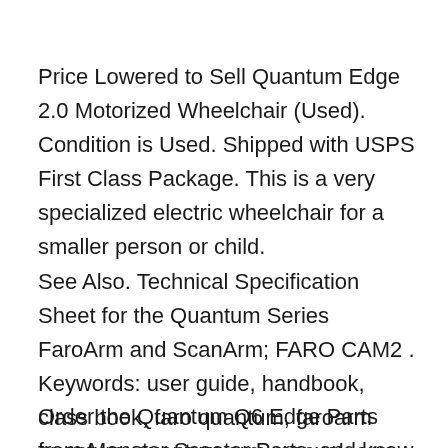Price Lowered to Sell Quantum Edge 2.0 Motorized Wheelchair (Used). Condition is Used. Shipped with USPS First Class Package. This is a very specialized electric wheelchair for a smaller person or child.
See Also. Technical Specification Sheet for the Quantum Series FaroArm and ScanArm; FARO CAM2 . Keywords: user guide, handbook, class book, faro quantum, faroarm quantum, quantum arm manual, arm manual, quantum arm, quantum s
Order the Quantum Q6 Edge Parts from Monster Scooter Parts, and know you are getting quality